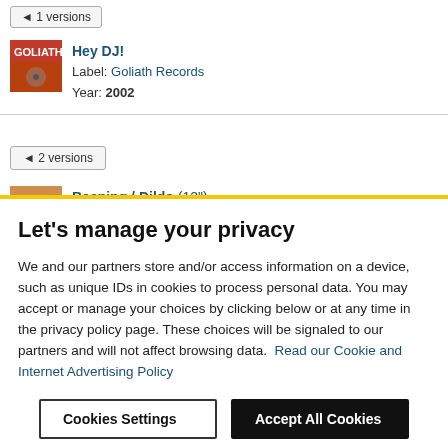◄ 1 versions
Hey DJ! Label: Goliath Records Year: 2002
◄ 2 versions
Beeping / Dildo (12") Label: ETX Editiontraxx
Let's manage your privacy
We and our partners store and/or access information on a device, such as unique IDs in cookies to process personal data. You may accept or manage your choices by clicking below or at any time in the privacy policy page. These choices will be signaled to our partners and will not affect browsing data. Read our Cookie and Internet Advertising Policy
Cookies Settings
Accept All Cookies